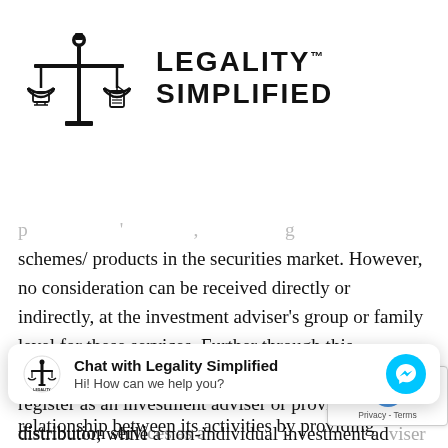[Figure (logo): Legality Simplified logo with scales of justice icon and bold text reading LEGALITY TM SIMPLIFIED]
schemes/ products in the securities market. However, no consideration can be received directly or indirectly, at the investment adviser's group or family level for these services. Further through this amendment, the individual will have the option to register as an investment adviser or provide distribution servi... distributor, while a non-individual investment ad...
[Figure (screenshot): Chat widget overlay: Chat with Legality Simplified - Hi! How can we help you? with Messenger icon]
relationship between its activities by providing